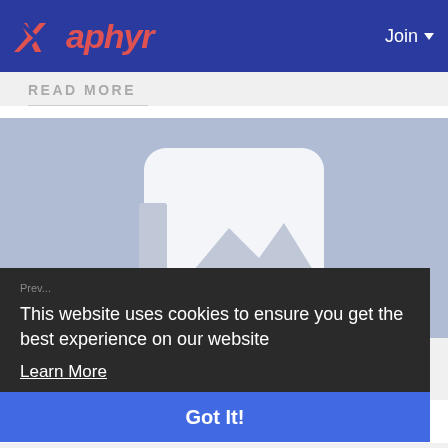Xaphyr | Join
READ MORE
[Figure (photo): Image placeholder showing a generic image icon with mountains silhouette on a light blue-grey background]
This website uses cookies to ensure you get the best experience on our website
Learn More
Got It!